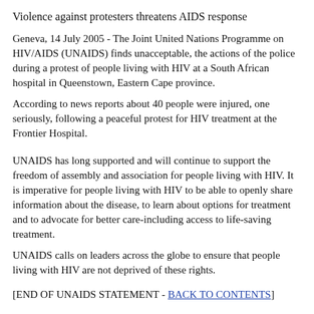Violence against protesters threatens AIDS response
Geneva, 14 July 2005 - The Joint United Nations Programme on HIV/AIDS (UNAIDS) finds unacceptable, the actions of the police during a protest of people living with HIV at a South African hospital in Queenstown, Eastern Cape province.
According to news reports about 40 people were injured, one seriously, following a peaceful protest for HIV treatment at the Frontier Hospital.
UNAIDS has long supported and will continue to support the freedom of assembly and association for people living with HIV. It is imperative for people living with HIV to be able to openly share information about the disease, to learn about options for treatment and to advocate for better care-including access to life-saving treatment.
UNAIDS calls on leaders across the globe to ensure that people living with HIV are not deprived of these rights.
[END OF UNAIDS STATEMENT - BACK TO CONTENTS]